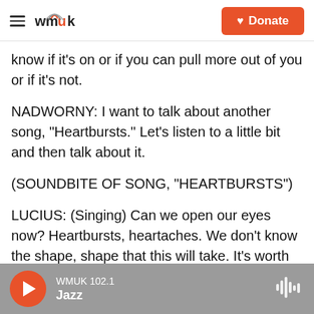wmuk | Donate
know if it's on or if you can pull more out of you or if it's not.
NADWORNY: I want to talk about another song, "Heartbursts." Let's listen to a little bit and then talk about it.
(SOUNDBITE OF SONG, "HEARTBURSTS")
LUCIUS: (Singing) Can we open our eyes now? Heartbursts, heartaches. We don't know the shape, shape that this will take. It's worth the wait. Better give your heart than never give at all.
WMUK 102.1 Jazz